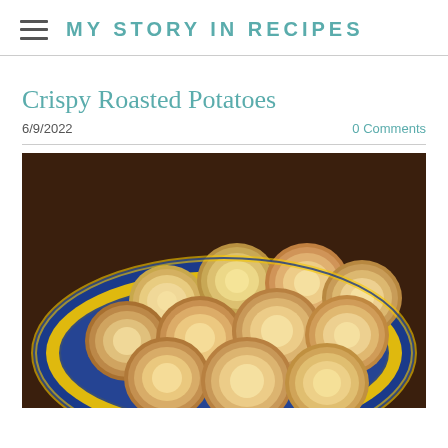MY STORY IN RECIPES
Crispy Roasted Potatoes
6/9/2022
0 Comments
[Figure (photo): Crispy roasted potato slices piled in a blue and yellow decorative oval serving dish, photographed from above on a dark wooden surface. The potato slices are golden-brown and appear crispy.]